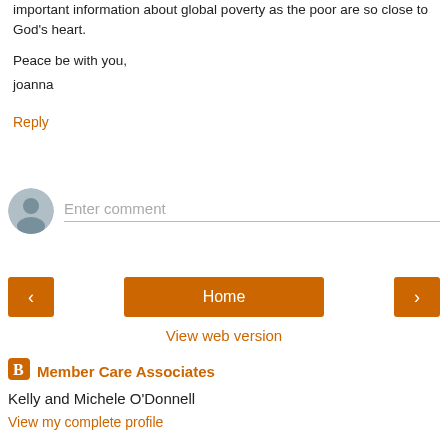important information about global poverty as the poor are so close to God's heart.

Peace be with you,
joanna
Reply
[Figure (other): Comment input area with user avatar icon and 'Enter comment' placeholder text]
[Figure (other): Navigation bar with left arrow button, Home button, and right arrow button in orange]
View web version
[Figure (logo): Blogger icon (orange square with B)]
Member Care Associates
Kelly and Michele O'Donnell
View my complete profile